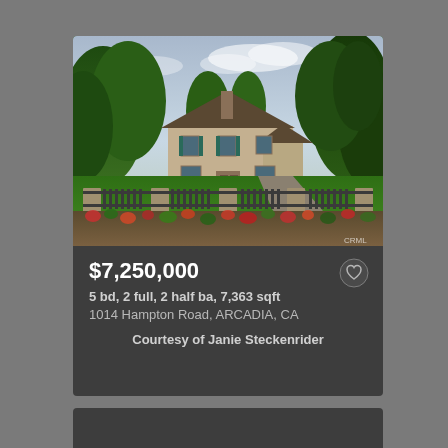[Figure (photo): Exterior photo of a large two-story residential home with stone/brick facade, teal shutters, dark roof, surrounded by large green trees, with a decorative iron fence and stone pillars in the foreground, manicured lawn, and flowering garden bed along the fence. Watermark: CRML]
$7,250,000
5 bd, 2 full, 2 half ba, 7,363 sqft
1014 Hampton Road, ARCADIA, CA
Courtesy of Janie Steckenrider